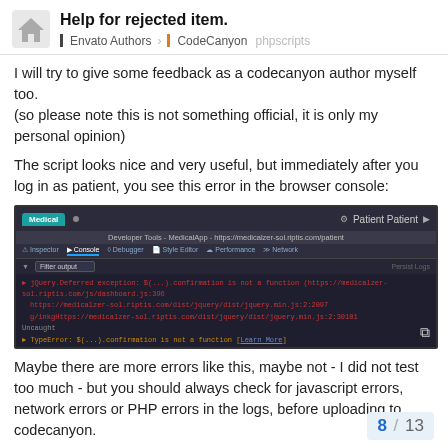Help for rejected item. | Envato Authors > CodeCanyon > phpscripts
I will try to give some feedback as a codecanyon author myself too.
(so please note this is not something official, it is only my personal opinion)
The script looks nice and very useful, but immediately after you log in as patient, you see this error in the browser console:
[Figure (screenshot): Browser developer tools console screenshot showing a jQuery error: 'jQuery.Deferred exception: $(...).confirmation is not a function' with stack trace and multiple source file links listed on the right.]
Maybe there are more errors like this, maybe not - I did not test too much - but you should always check for javascript errors, network errors or PHP errors in the logs, before uploading to codecanyon.
I also tried to log in as a doctor and fill a re...
8 / 13